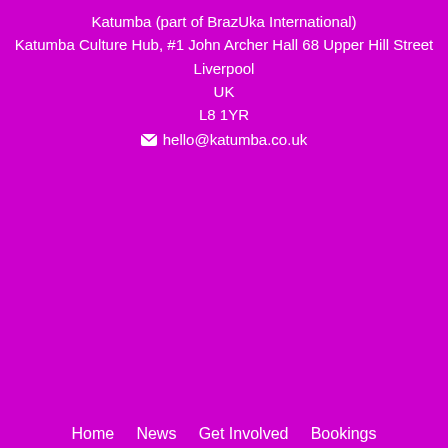Katumba (part of BrazUka International)
Katumba Culture Hub, #1 John Archer Hall 68 Upper Hill Street
Liverpool
UK
L8 1YR
hello@katumba.co.uk
Home   News   Get Involved   Bookings
WORK WITH US!   Halloween   About Us   Media
Shop   Contact
[Figure (illustration): Row of social media icons: Facebook (blue circle), Twitter (blue bird), LinkedIn (teal square), Instagram (gradient square), YouTube (red rectangle with play button), Spotify (green circle)]
This website uses cookies to improve your experience. We'll assume you're ok with this, but you can opt-out if you wish.
Accept   Reject   Read More